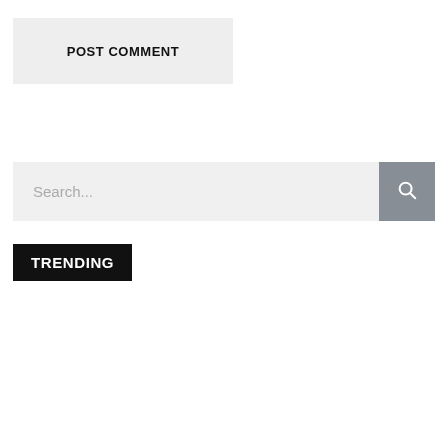[Figure (screenshot): POST COMMENT button - a grey rectangular button with bold uppercase text 'POST COMMENT']
[Figure (screenshot): Search bar with placeholder text 'Search...' and a grey search button with magnifying glass icon on the right]
TRENDING